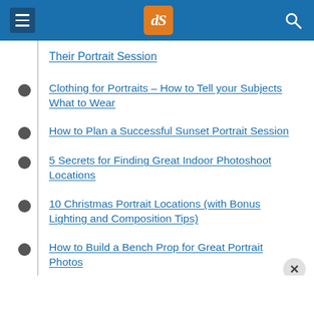dPS navigation header
Their Portrait Session
Clothing for Portraits – How to Tell your Subjects What to Wear
How to Plan a Successful Sunset Portrait Session
5 Secrets for Finding Great Indoor Photoshoot Locations
10 Christmas Portrait Locations (with Bonus Lighting and Composition Tips)
How to Build a Bench Prop for Great Portrait Photos